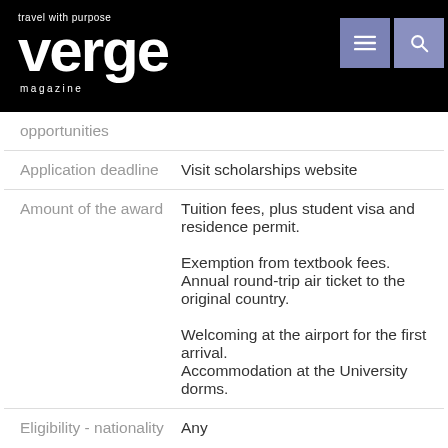travel with purpose verge magazine
| Field | Value |
| --- | --- |
| opportunities |  |
| Application deadline | Visit scholarships website |
| Amount of the award | Tuition fees, plus student visa and residence permit.
Exemption from textbook fees.
Annual round-trip air ticket to the original country.
Welcoming at the airport for the first arrival.
Accommodation at the University dorms. |
| Eligibility - nationality | Any |